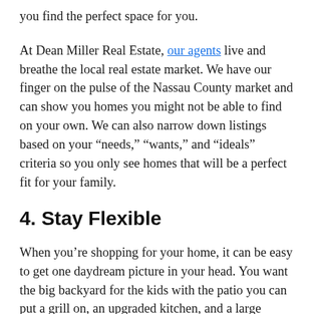you find the perfect space for you.
At Dean Miller Real Estate, our agents live and breathe the local real estate market. We have our finger on the pulse of the Nassau County market and can show you homes you might not be able to find on your own. We can also narrow down listings based on your “needs,” “wants,” and “ideals” criteria so you only see homes that will be a perfect fit for your family.
4. Stay Flexible
When you’re shopping for your home, it can be easy to get one daydream picture in your head. You want the big backyard for the kids with the patio you can put a grill on, an upgraded kitchen, and a large soaking tub in the expansive master suite. Your house will be in a beautiful,